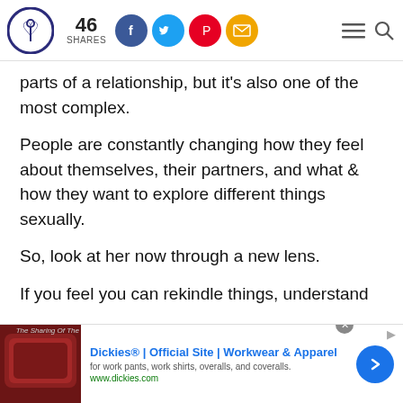46 SHARES [social icons: Facebook, Twitter, Pinterest, Email] [hamburger menu] [search]
parts of a relationship, but it's also one of the most complex.
People are constantly changing how they feel about themselves, their partners, and what & how they want to explore different things sexually.
So, look at her now through a new lens.
If you feel you can rekindle things, understand
[Figure (screenshot): Advertisement banner for Dickies workwear. Shows a dark red/brown leather couch image on left, text 'Dickies® | Official Site | Workwear & Apparel' in blue bold, subtitle 'for work pants, work shirts, overalls, and coveralls.' and URL 'www.dickies.com' in green, blue circular arrow button on right. Close X button and advertisement arrow indicator visible.]